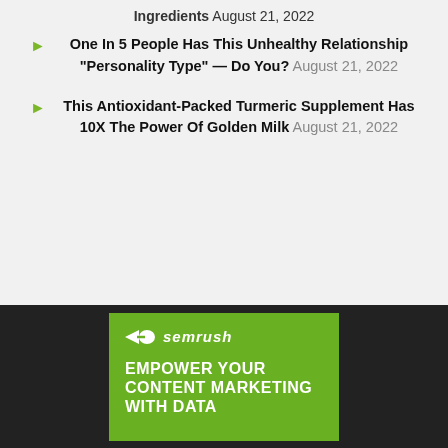Ingredients August 21, 2022
One In 5 People Has This Unhealthy Relationship "Personality Type" — Do You? August 21, 2022
This Antioxidant-Packed Turmeric Supplement Has 10X The Power Of Golden Milk August 21, 2022
[Figure (logo): Semrush advertisement banner with green background, Semrush logo, and text 'EMPOWER YOUR CONTENT MARKETING WITH DATA']